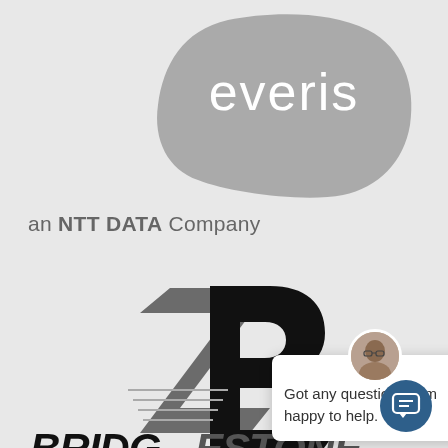[Figure (logo): everis logo — white text 'everis' on a grey organic blob shape]
an NTT DATA Company
[Figure (logo): Bridgestone logo — stylized B emblem above italic BRIDGESTONE text]
[Figure (screenshot): Chat popup widget with avatar photo of a man with glasses and message 'Got any questions? I'm happy to help.' with X close button]
[Figure (other): Dark blue circular chat button with speech bubble icon in bottom right corner]
[Figure (other): Decorative horizontal lines at bottom center-left]